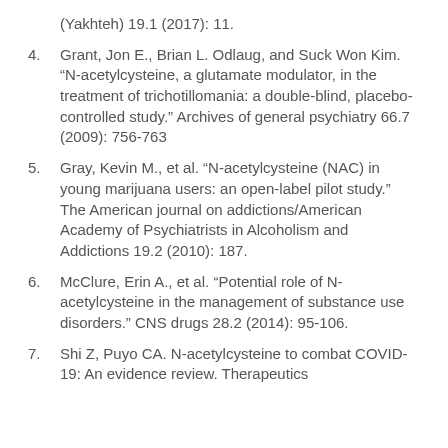(Yakhteh) 19.1 (2017): 11.
Grant, Jon E., Brian L. Odlaug, and Suck Won Kim. “N-acetylcysteine, a glutamate modulator, in the treatment of trichotillomania: a double-blind, placebo-controlled study.” Archives of general psychiatry 66.7 (2009): 756-763
Gray, Kevin M., et al. “N-acetylcysteine (NAC) in young marijuana users: an open-label pilot study.” The American journal on addictions/American Academy of Psychiatrists in Alcoholism and Addictions 19.2 (2010): 187.
McClure, Erin A., et al. “Potential role of N-acetylcysteine in the management of substance use disorders.” CNS drugs 28.2 (2014): 95-106.
Shi Z, Puyo CA. N-acetylcysteine to combat COVID-19: An evidence review. Therapeutics